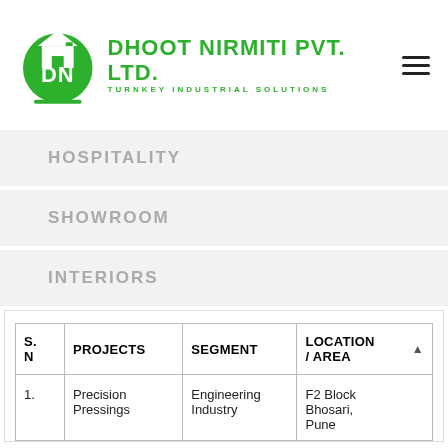[Figure (logo): Dhoot Nirmiti Pvt. Ltd. logo — green circular DN badge with house icon, and green bold text company name and tagline]
HOSPITALITY
SHOWROOM
INTERIORS
| S.NO | PROJECTS | SEGMENT | LOCATION / AREA |
| --- | --- | --- | --- |
| 1. | Precision Pressings | Engineering Industry | F2 Block Bhosari, Pune |